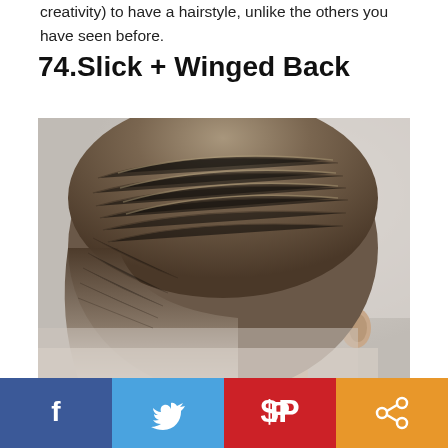creativity) to have a hairstyle, unlike the others you have seen before.
74.Slick + Winged Back
[Figure (photo): Back view of a man's head showing a slick + winged back hairstyle with a fade cut. The hair is combed/slicked back and to the sides, brown/dark blonde color, with a low skin fade on the sides and back.]
Social share bar with Facebook, Twitter, Pinterest, and Share buttons